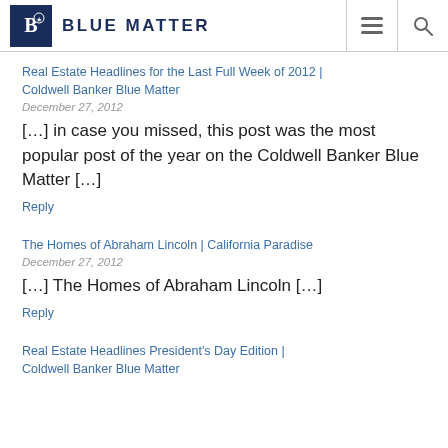Blue Matter
Real Estate Headlines for the Last Full Week of 2012 | Coldwell Banker Blue Matter
December 27, 2012
[…] in case you missed, this post was the most popular post of the year on the Coldwell Banker Blue Matter […]
Reply
The Homes of Abraham Lincoln | California Paradise
December 27, 2012
[…] The Homes of Abraham Lincoln […]
Reply
Real Estate Headlines President's Day Edition | Coldwell Banker Blue Matter